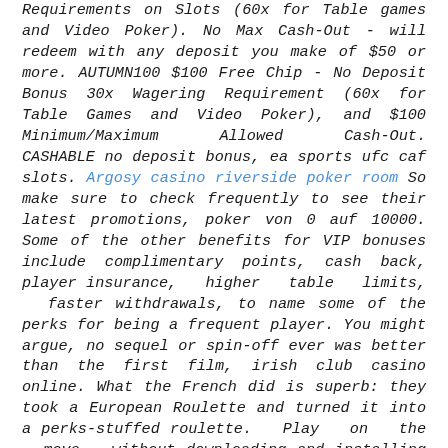Requirements on Slots (60x for Table games and Video Poker). No Max Cash-Out - will redeem with any deposit you make of $50 or more. AUTUMN100 $100 Free Chip - No Deposit Bonus 30x Wagering Requirement (60x for Table Games and Video Poker), and $100 Minimum/Maximum Allowed Cash-Out. CASHABLE no deposit bonus, ea sports ufc caf slots. Argosy casino riverside poker room So make sure to check frequently to see their latest promotions, poker von 0 auf 10000. Some of the other benefits for VIP bonuses include complimentary points, cash back, player insurance, higher table limits, faster withdrawals, to name some of the perks for being a frequent player. You might argue, no sequel or spin-off ever was better than the first film, irish club casino online. What the French did is superb: they took a European Roulette and turned it into a perks-stuffed roulette. Play on the move without downloading and installing any indigenous